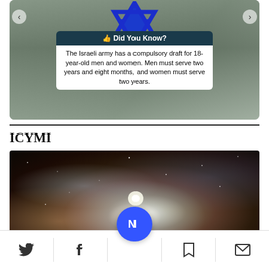[Figure (photo): Israeli military and Star of David image with 'Did You Know?' info card overlay. Text reads: The Israeli army has a compulsory draft for 18-year-old men and women. Men must serve two years and eight months, and women must serve two years.]
Did You Know?
The Israeli army has a compulsory draft for 18-year-old men and women. Men must serve two years and eight months, and women must serve two years.
ICYMI
[Figure (photo): Nebula / space photograph showing a star-forming region with glowing dust clouds, stars, and colorful gas.]
Twitter, Facebook, Home, Bookmark, Email navigation bar